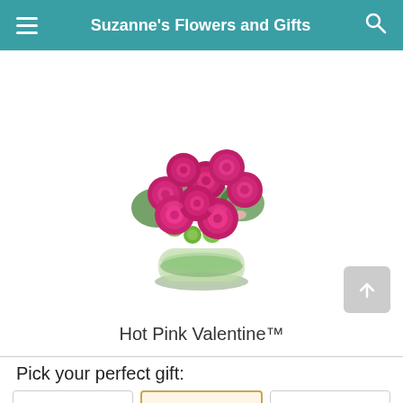Suzanne's Flowers and Gifts
[Figure (photo): A floral arrangement called Hot Pink Valentine featuring hot pink roses, pink alstroemeria, and green button mums in a clear glass cylinder vase with a green leaf lining.]
Hot Pink Valentine™
Pick your perfect gift: